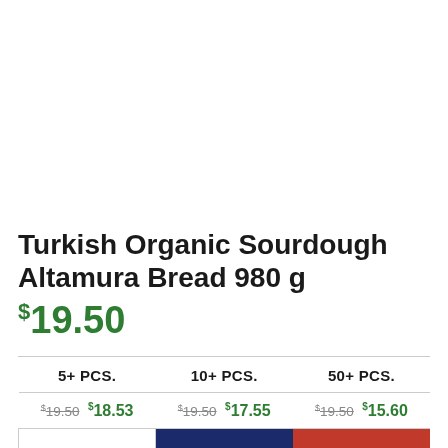[Figure (photo): Product image area (white/empty space for Turkish Organic Sourdough Altamura Bread 980g)]
Turkish Organic Sourdough Altamura Bread 980 g
$19.50
| 5+ PCS. | 10+ PCS. | 50+ PCS. |
| --- | --- | --- |
| $19.50  $18.53 | $19.50  $17.55 | $19.50  $15.60 |